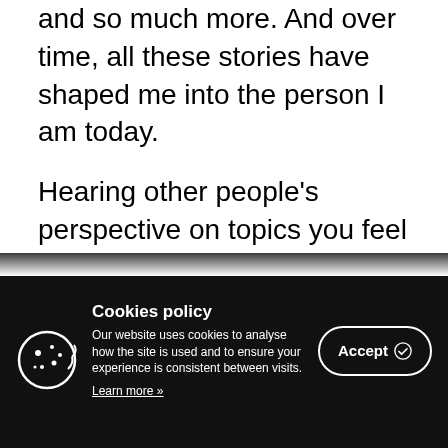and so much more. And over time, all these stories have shaped me into the person I am today.
Hearing other people's perspective on topics you feel a certain way about is very humbling, and if you are open to it, it can help you become a better person too.
[Figure (other): Cookie policy banner with cookie icon, policy text, and Accept button]